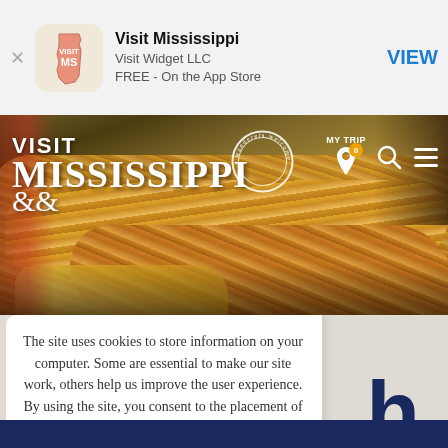[Figure (screenshot): App Store banner for Visit Mississippi app by Visit Widget LLC, FREE on the App Store, with VIEW button]
[Figure (photo): Visit Mississippi website hero banner with fried catfish food photo background, Visit Mississippi logo, wanderers welcome circular badge, MY TRIP navigation, search and menu icons]
The site uses cookies to store information on your computer. Some are essential to make our site work, others help us improve the user experience. By using the site, you consent to the placement of these cookies. Read our